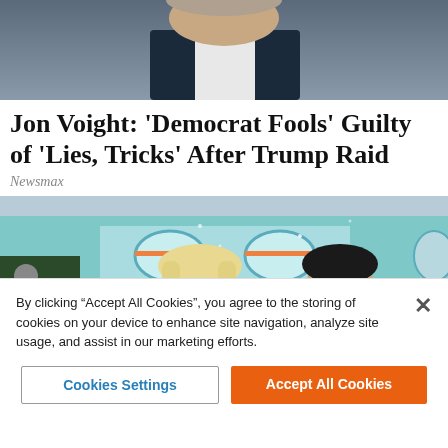[Figure (photo): Partial photo of a person in a dark suit, cropped at top of page]
Jon Voight: 'Democrat Fools' Guilty of 'Lies, Tricks' After Trump Raid
Newsmax
[Figure (photo): A smiling blonde woman in a white off-shoulder dress and a man in a dark suit with a red tie and white boutonniere, appearing to be at a wedding, in front of a colorful building]
By clicking “Accept All Cookies”, you agree to the storing of cookies on your device to enhance site navigation, analyze site usage, and assist in our marketing efforts.